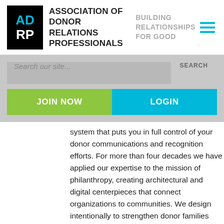[Figure (logo): ADRP logo: black square with 'AD' in cyan and 'RP' in white, followed by 'ASSOCIATION OF DONOR RELATIONS PROFESSIONALS' in bold black and 'BUILDING RELATIONSHIPS FOR GOOD' in grey, with a hamburger menu icon in cyan on the right]
Search our site...
SEARCH
JOIN NOW
LOGIN
system that puts you in full control of your donor communications and recognition efforts. For more than four decades we have applied our expertise to the mission of philanthropy, creating architectural and digital centerpieces that connect organizations to communities. We design intentionally to strengthen donor families and move others to follow their generous